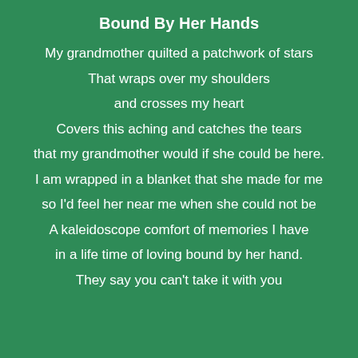Bound By Her Hands
My grandmother quilted a patchwork of stars
That wraps over my shoulders
and crosses my heart
Covers this aching and catches the tears
that my grandmother would if she could be here.
I am wrapped in a blanket that she made for me
so I'd feel her near me when she could not be
A kaleidoscope comfort of memories I have
in a life time of loving bound by her hand.
They say you can't take it with you